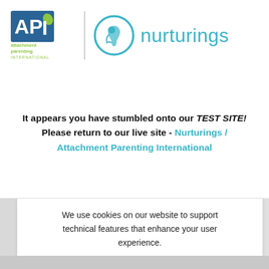[Figure (logo): Attachment Parenting International (API) logo on the left with blue/green text and leaf, vertical divider, nurturings circular logo and teal text on the right]
It appears you have stumbled onto our TEST SITE! Please return to our live site - Nurturings / Attachment Parenting International
We use cookies on our website to support technical features that enhance your user experience.

To opt out, click "More Information."